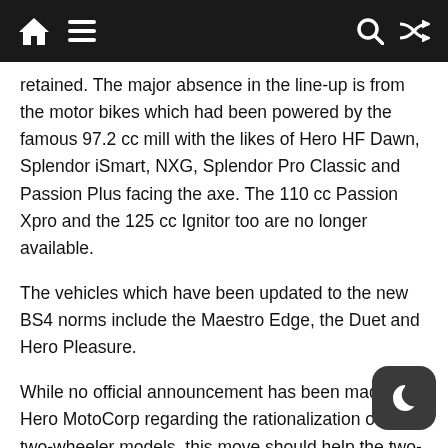[navigation bar with home, menu, search, shuffle icons]
retained. The major absence in the line-up is from the motor bikes which had been powered by the famous 97.2 cc mill with the likes of Hero HF Dawn, Splendor iSmart, NXG, Splendor Pro Classic and Passion Plus facing the axe. The 110 cc Passion Xpro and the 125 cc Ignitor too are no longer available.
The vehicles which have been updated to the new BS4 norms include the Maestro Edge, the Duet and Hero Pleasure.
While no official announcement has been made by Hero MotoCorp regarding the rationalization of its two-wheeler models, this move should help the two-wheeler major to offer more focused models towards its customers.
[Source: AutoCarIndia]